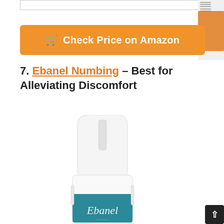[Figure (screenshot): Top search/navigation bar with border]
[Figure (screenshot): Right side thumbnail strip showing product images]
[Figure (other): Orange Amazon affiliate button with shopping cart icon and text 'Check Price on Amazon']
7. Ebanel Numbing – Best for Alleviating Discomfort
[Figure (photo): Photo of Ebanel Numbing spray bottle with white cap and teal label showing the Ebanel brand name]
[Figure (other): Scroll to top button (black square with up arrow) in bottom right corner]